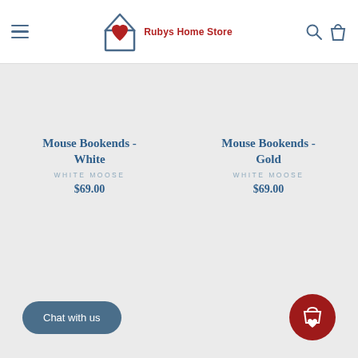Rubys Home Store
Mouse Bookends - White
WHITE MOOSE
$69.00
Mouse Bookends - Gold
WHITE MOOSE
$69.00
Chat with us